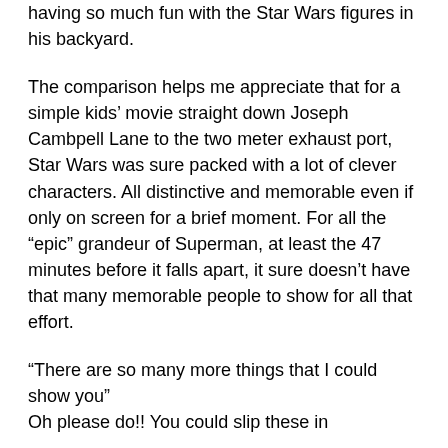having so much fun with the Star Wars figures in his backyard.
The comparison helps me appreciate that for a simple kids' movie straight down Joseph Cambpell Lane to the two meter exhaust port, Star Wars was sure packed with a lot of clever characters. All distinctive and memorable even if only on screen for a brief moment. For all the “epic” grandeur of Superman, at least the 47 minutes before it falls apart, it sure doesn’t have that many memorable people to show for all that effort.
“There are so many more things that I could show you”
Oh please do!! You could slip these in